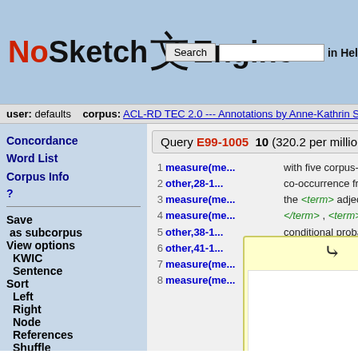NoSketch 文 Engine | Search | in Hel
user: defaults  corpus: ACL-RD TEC 2.0 --- Annotations by Anne-Kathrin Schur
Concordance
Word List
Corpus Info
Save as subcorpus
View options
KWIC
Sentence
Sort
Left
Right
Node
References
Shuffle
Sample
Query E99-1005 10 (320.2 per million)
1 measure(me...  with five corpus-based var
2 other,28-1...  co-occurrence frequency </term>
3 measure(me...  the <term> adjective-noun pair </
4 measure(me...  </term> , <term> noun frequency </
5 other,38-1...  conditional probability </term>
6 other,41-1...  </term> of the <term> noun </term> gi
7 measure(me...  given the <term> adjective </term
8 measure(me...  <term> log-likelihood ratio </term
[Figure (screenshot): Popup overlay with chevron/double-down arrow and white content area, yellow background]
Computing (en-3.56.8) | language links | hrvatski